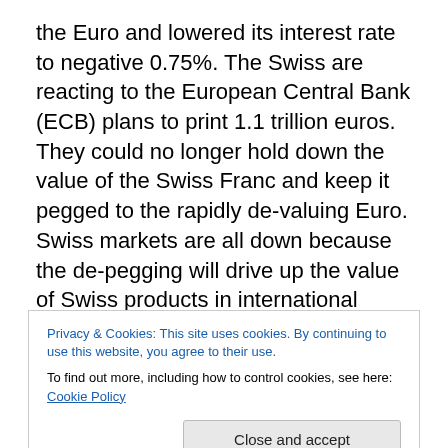the Euro and lowered its interest rate to negative 0.75%.  The Swiss are reacting to the European Central Bank (ECB) plans to print 1.1 trillion euros.  They could no longer hold down the value of the Swiss Franc and keep it pegged to the rapidly de-valuing Euro.  Swiss markets are all down because the de-pegging will drive up the value of Swiss products in international markets and hurt Swiss exports.  This, however, likely now makes the Swiss Franc the top safe haven currency.  This was a very significant event and financial commentators and professionals are all saying nothing like this has ever happened before.  No
Privacy & Cookies: This site uses cookies. By continuing to use this website, you agree to their use.
To find out more, including how to control cookies, see here: Cookie Policy
Swiss Franc gained 15 cents on the US Dollar in one day.